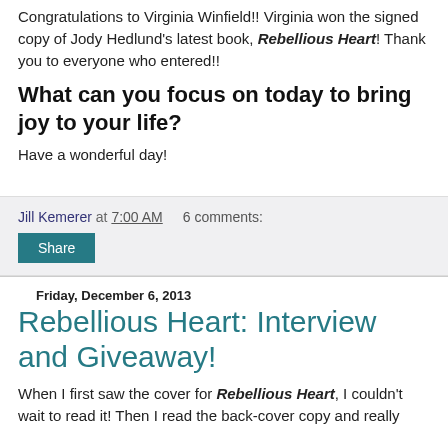Congratulations to Virginia Winfield!! Virginia won the signed copy of Jody Hedlund's latest book, Rebellious Heart! Thank you to everyone who entered!!
What can you focus on today to bring joy to your life?
Have a wonderful day!
Jill Kemerer at 7:00 AM   6 comments:
Share
Friday, December 6, 2013
Rebellious Heart: Interview and Giveaway!
When I first saw the cover for Rebellious Heart, I couldn't wait to read it! Then I read the back-cover copy and really